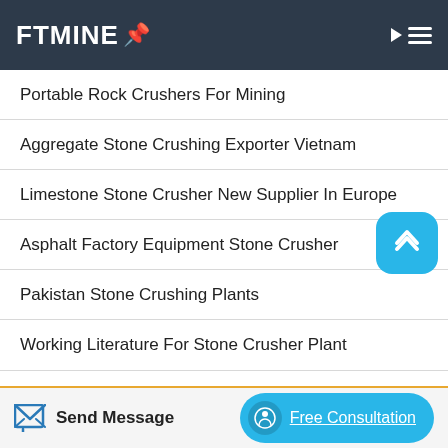FTMINE
Portable Rock Crushers For Mining
Aggregate Stone Crushing Exporter Vietnam
Limestone Stone Crusher New Supplier In Europe
Asphalt Factory Equipment Stone Crusher
Pakistan Stone Crushing Plants
Working Literature For Stone Crusher Plant
Stone Crusher S Plants For Sale South Africa
Send Message   Free Consultation